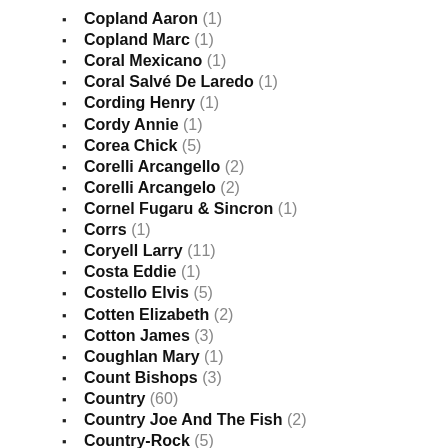Copland Aaron (1)
Copland Marc (1)
Coral Mexicano (1)
Coral Salvé De Laredo (1)
Cording Henry (1)
Cordy Annie (1)
Corea Chick (5)
Corelli Arcangello (2)
Corelli Arcangelo (2)
Cornel Fugaru & Sincron (1)
Corrs (1)
Coryell Larry (11)
Costa Eddie (1)
Costello Elvis (5)
Cotten Elizabeth (2)
Cotton James (3)
Coughlan Mary (1)
Count Bishops (3)
Country (60)
Country Joe And The Fish (2)
Country-Rock (5)